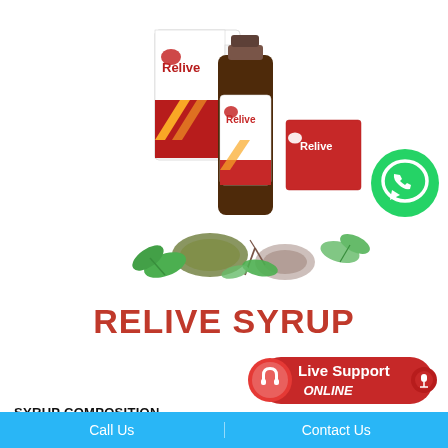[Figure (photo): Relive Syrup product photo showing a bottle, boxes, and herbal ingredients (dried herbs, leaves, seeds) arranged together. WhatsApp icon in top-right corner.]
RELIVE SYRUP
[Figure (infographic): Live Support ONLINE button/badge in red with headset icon]
SYRUP COMPOSITION
Call Us    Contact Us